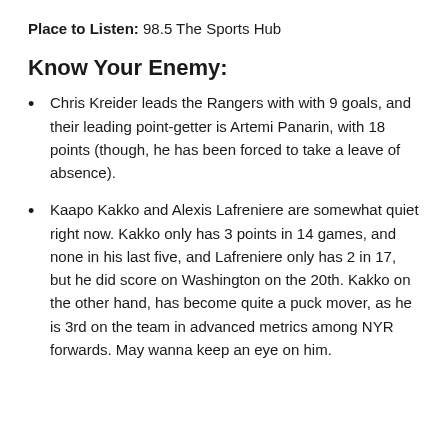Place to Listen: 98.5 The Sports Hub
Know Your Enemy:
Chris Kreider leads the Rangers with with 9 goals, and their leading point-getter is Artemi Panarin, with 18 points (though, he has been forced to take a leave of absence).
Kaapo Kakko and Alexis Lafreniere are somewhat quiet right now. Kakko only has 3 points in 14 games, and none in his last five, and Lafreniere only has 2 in 17, but he did score on Washington on the 20th. Kakko on the other hand, has become quite a puck mover, as he is 3rd on the team in advanced metrics among NYR forwards. May wanna keep an eye on him.